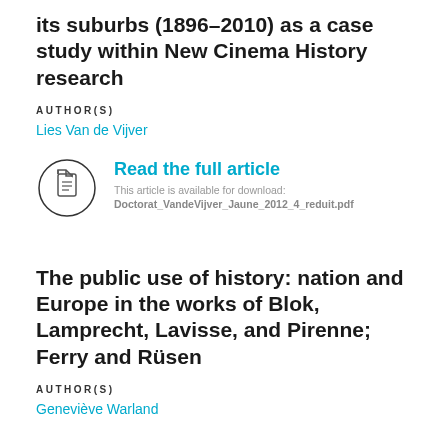its suburbs (1896–2010) as a case study within New Cinema History research
AUTHOR(S)
Lies Van de Vijver
[Figure (illustration): Circle icon with a document/file symbol inside]
Read the full article
This article is available for download:
Doctorat_VandeVijver_Jaune_2012_4_reduit.pdf
The public use of history: nation and Europe in the works of Blok, Lamprecht, Lavisse, and Pirenne; Ferry and Rüsen
AUTHOR(S)
Geneviève Warland